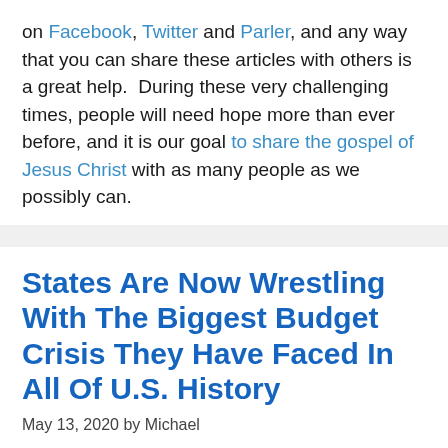on Facebook, Twitter and Parler, and any way that you can share these articles with others is a great help.  During these very challenging times, people will need hope more than ever before, and it is our goal to share the gospel of Jesus Christ with as many people as we possibly can.
States Are Now Wrestling With The Biggest Budget Crisis They Have Faced In All Of U.S. History
May 13, 2020 by Michael
[Figure (other): Broken image placeholder icon]